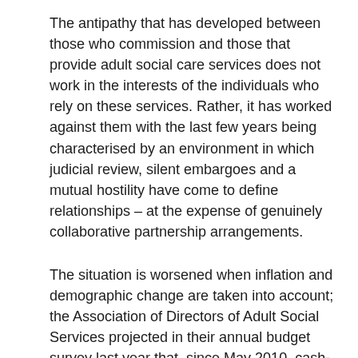The antipathy that has developed between those who commission and those that provide adult social care services does not work in the interests of the individuals who rely on these services. Rather, it has worked against them with the last few years being characterised by an environment in which judicial review, silent embargoes and a mutual hostility have come to define relationships – at the expense of genuinely collaborative partnership arrangements.
The situation is worsened when inflation and demographic change are taken into account; the Association of Directors of Adult Social Services projected in their annual budget survey last year that, since May 2010, cash-strapped local authorities have cut a combined £3.53 billion from adult social care budgets. LaingBuisson projects that once care home cost inflation is accounted for, older people's services have seen a cumulative reduction in fees of 5.7% in real terms (not even taking into account changes in the RPI).